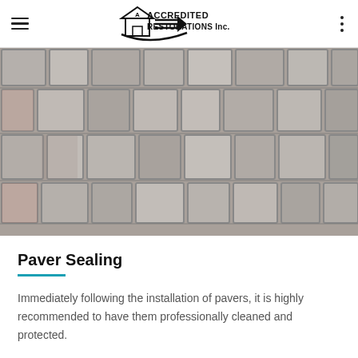A Accredited Restorations Inc.
[Figure (photo): Close-up photograph of interlocking stone/concrete pavers in gray tones, showing various sized rectangular and irregular stones laid in a pattern with visible joints between them.]
Paver Sealing
Immediately following the installation of pavers, it is highly recommended to have them professionally cleaned and protected.